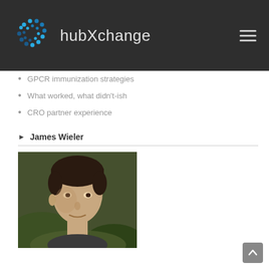hubXchange
GPCR immunization strategies
What worked, what didn't-ish
CRO partner experience
James Wieler
[Figure (photo): Headshot photo of James Wieler, a man with dark hair photographed outdoors with green foliage in background]